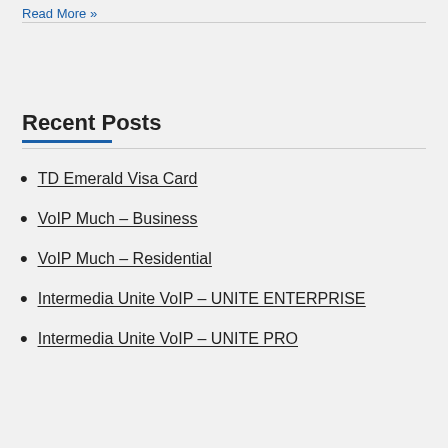Read More »
Recent Posts
TD Emerald Visa Card
VoIP Much – Business
VoIP Much – Residential
Intermedia Unite VoIP – UNITE ENTERPRISE
Intermedia Unite VoIP – UNITE PRO